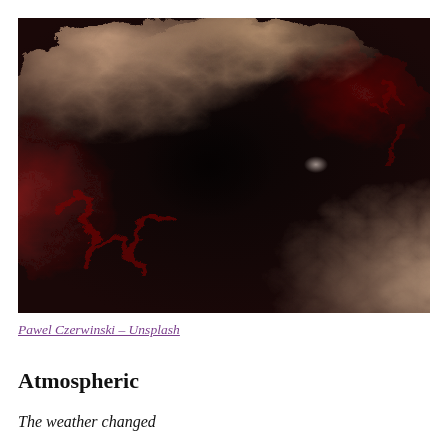[Figure (photo): Abstract fluid art photograph showing swirling patterns of dark red, crimson, black, and sandy/beige tones resembling marbled paint or atmospheric turbulence. The image fills the upper portion of the page.]
Pawel Czerwinski – Unsplash
Atmospheric
The weather changed